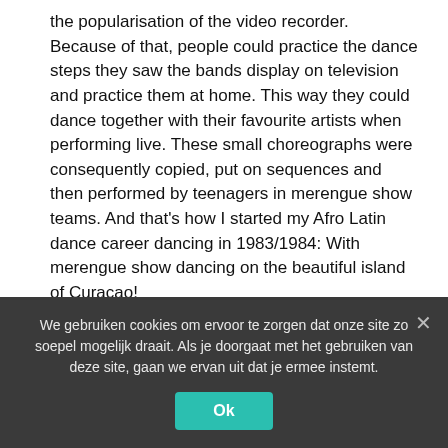the popularisation of the video recorder. Because of that, people could practice the dance steps they saw the bands display on television and practice them at home. This way they could dance together with their favourite artists when performing live. These small choreographs were consequently copied, put on sequences and then performed by teenagers in merengue show teams. And that's how I started my Afro Latin dance career dancing in 1983/1984: With merengue show dancing on the beautiful island of Curacao!
Merengue caused the Salsa Recession!
Bands such as the pioneering Johnny Ventura, Fernandito Villalona, Wilfrido Vargaz, the New York Band and Juan Luis
We gebruiken cookies om ervoor te zorgen dat onze site zo soepel mogelijk draait. Als je doorgaat met het gebruiken van deze site, gaan we ervan uit dat je ermee instemt.